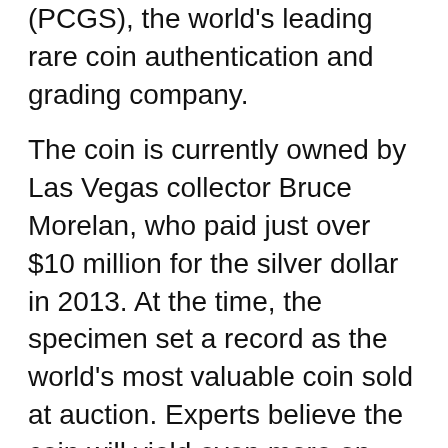(PCGS), the world's leading rare coin authentication and grading company.
The coin is currently owned by Las Vegas collector Bruce Morelan, who paid just over $10 million for the silver dollar in 2013. At the time, the specimen set a record as the world's most valuable coin sold at auction. Experts believe the coin will yield even more on October 8.
“Coins are in my blood, and the 1794 dollar was a lifelong dream,” Morelan said in a statement. "Now that my early American dollars collection is complete and nothing else can be added, I've decided it's time for other collectors to enjoy these magnificent coins."